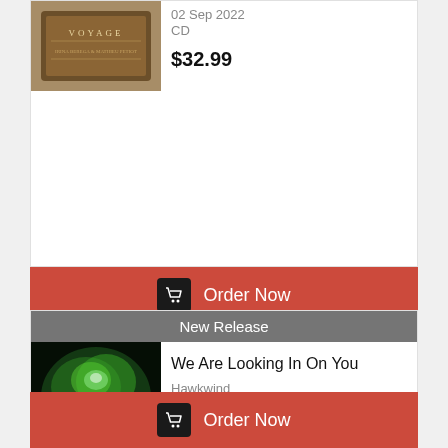[Figure (photo): Album cover for VOYAGE showing book/record with decorative styling]
02 Sep 2022
CD
$32.99
Order Now
New Release
[Figure (photo): Hawkwind album cover - We Are Looking In On You, shows glowing green alien face with red eyes and laser beams on dark background]
We Are Looking In On You
Hawkwind
02 Sep 2022
CD
$34.99
Order Now